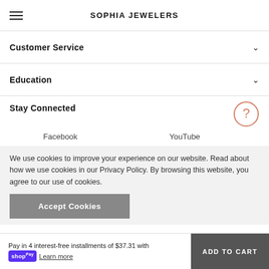SOPHIA JEWELERS
Customer Service
Education
Stay Connected
Facebook   YouTube
We use cookies to improve your experience on our website. Read about how we use cookies in our Privacy Policy. By browsing this website, you agree to our use of cookies.
Accept Cookies
Pay in 4 interest-free installments of $37.31 with shop Pay Learn more   ADD TO CART